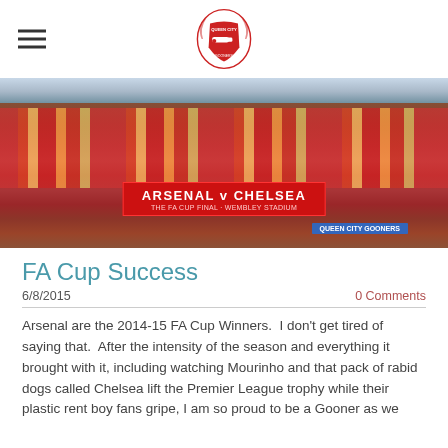[Arsenal Queen City Gooners logo with hamburger menu]
[Figure (photo): Group photo of Arsenal supporters in red and yellow jerseys holding a large red banner reading 'Arsenal v Chelsea' and a 'Queen City Gooners' banner, standing in front of a building on a sunny day.]
FA Cup Success
6/8/2015
0 Comments
Arsenal are the 2014-15 FA Cup Winners.  I don't get tired of saying that.  After the intensity of the season and everything it brought with it, including watching Mourinho and that pack of rabid dogs called Chelsea lift the Premier League trophy while their plastic rent boy fans gripe, I am so proud to be a Gooner as we